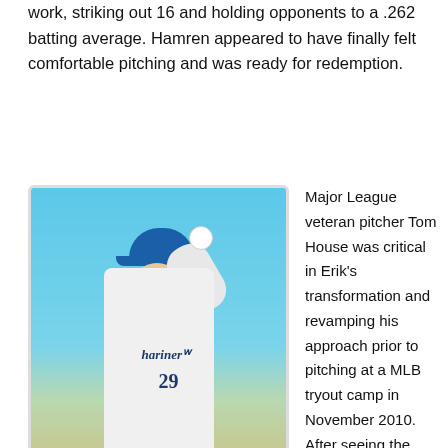work, striking out 16 and holding opponents to a .262 batting average. Hamren appeared to have finally felt comfortable pitching and was ready for redemption.
[Figure (photo): Baseball card of Tom House, pitcher for the Seattle Mariners, wearing jersey number 29, raising his arm to throw a ball. The card shows 'TOM HOUSE P' and 'MARINERS' at the bottom in the style of a 1979 baseball card.]
MLB veteran pitcher Tom House turned things around for Erik
Major League veteran pitcher Tom House was critical in Erik's transformation and revamping his approach prior to pitching at a MLB tryout camp in November 2010. After seeing the renaissance man in action, the San Diego Padres signed Erik to a minor league contract. Hamren believes it was a full season of